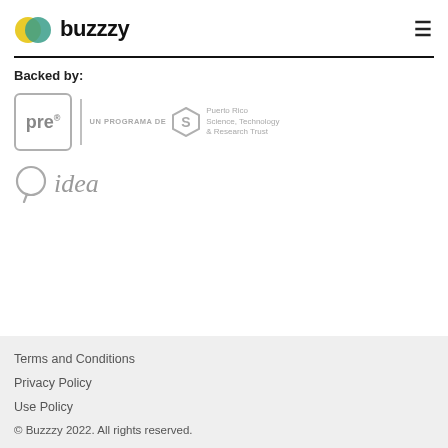[Figure (logo): Buzzzy logo with overlapping yellow and teal circles and bold text 'buzzzy', plus hamburger menu icon on the right]
Backed by:
[Figure (logo): pre® logo in a rounded square box, vertical divider, 'UN PROGRAMA DE' text, hexagon S icon, Puerto Rico Science, Technology & Research Trust text]
[Figure (logo): idea logo with speech bubble Q icon and italic text 'idea']
Terms and Conditions
Privacy Policy
Use Policy
© Buzzzy 2022. All rights reserved.